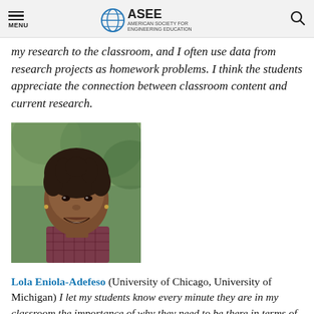MENU | ASEE AMERICAN SOCIETY FOR ENGINEERING EDUCATION
my research to the classroom, and I often use data from research projects as homework problems. I think the students appreciate the connection between classroom content and current research.
[Figure (photo): Headshot photo of Lola Eniola-Adefeso, a woman smiling, with short natural hair, wearing a patterned top, outdoors with green foliage in background.]
Lola Eniola-Adefeso (University of Chicago, University of Michigan) I let my students know every minute they are in my classroom the importance of why they need to be there in terms of their future and (frankly) the future of our nation.